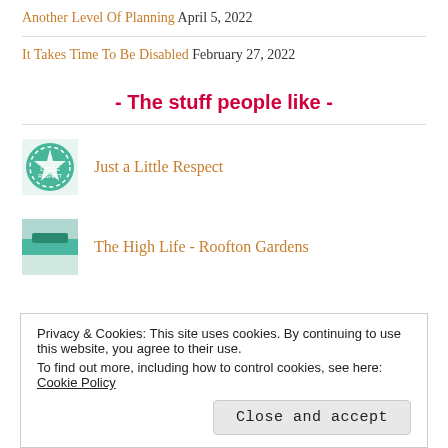Another Level Of Planning April 5, 2022
It Takes Time To Be Disabled February 27, 2022
- The stuff people like -
Just a Little Respect
The High Life - Roofton Gardens
Privacy & Cookies: This site uses cookies. By continuing to use this website, you agree to their use.
To find out more, including how to control cookies, see here: Cookie Policy
Close and accept